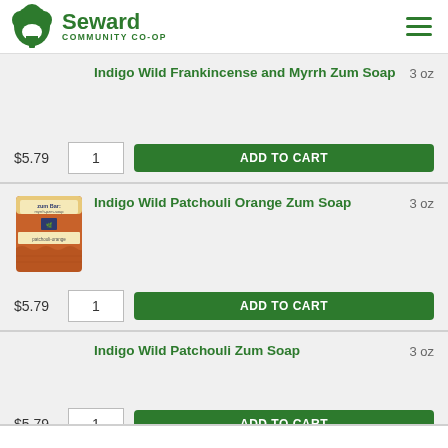Seward Community Co-op
Indigo Wild Frankincense and Myrrh Zum Soap  3 oz  $5.79  1  ADD TO CART
[Figure (photo): Product image placeholder (no image shown for first item)]
Indigo Wild Patchouli Orange Zum Soap  3 oz  $5.79  1  ADD TO CART
[Figure (photo): Photo of Zum Bar Patchouli Orange soap bar — brown/orange colored soap with Zum Bar label]
Indigo Wild Patchouli Zum Soap  3 oz  $5.79  1  ADD TO CART